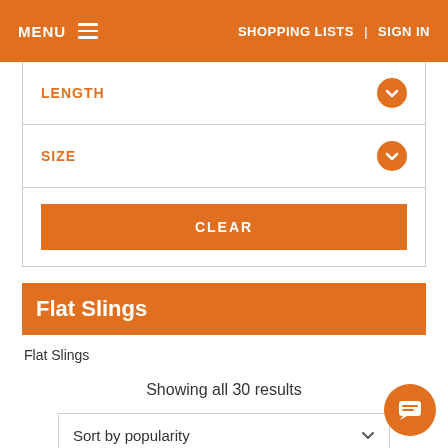MENU  SHOPPING LISTS | SIGN IN
LENGTH
SIZE
CLEAR
Flat Slings
Flat Slings
Showing all 30 results
Sort by popularity